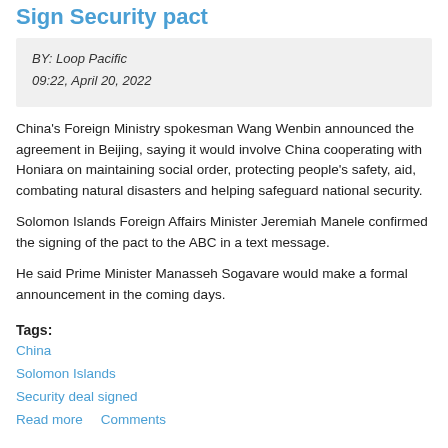Sign Security pact
BY: Loop Pacific
09:22, April 20, 2022
China's Foreign Ministry spokesman Wang Wenbin announced the agreement in Beijing, saying it would involve China cooperating with Honiara on maintaining social order, protecting people's safety, aid, combating natural disasters and helping safeguard national security.
Solomon Islands Foreign Affairs Minister Jeremiah Manele confirmed the signing of the pact to the ABC in a text message.
He said Prime Minister Manasseh Sogavare would make a formal announcement in the coming days.
Tags:
China
Solomon Islands
Security deal signed
Read more    Comments